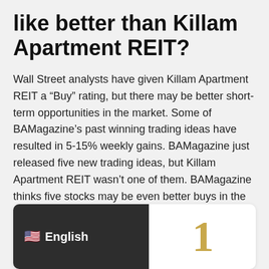like better than Killam Apartment REIT?
Wall Street analysts have given Killam Apartment REIT a “Buy” rating, but there may be better short-term opportunities in the market. Some of BAMagazine’s past winning trading ideas have resulted in 5-15% weekly gains. BAMagazine just released five new trading ideas, but Killam Apartment REIT wasn’t one of them. BAMagazine thinks five stocks may be even better buys in the how to buy stocks guide.
[Figure (other): A card widget showing a flag emoji and the word English on a dark background on the left, and a large gold number 1 on the right on a white background.]